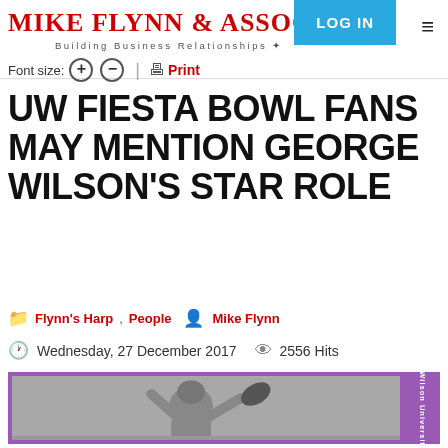MIKE FLYNN & ASSOCIATES — Building Business Relationships
Font size: + - | Print
UW FIESTA BOWL FANS MAY MENTION GEORGE WILSON'S STAR ROLE
Flynn's Harp, People  Mike Flynn
Wednesday, 27 December 2017  2556 Hits
[Figure (photo): Black and white vintage football card photo of George Wilson, University of Washington player, catching or blocking a football. Card has purple border with 'George Wilson University of Wa...' text on side tab.]